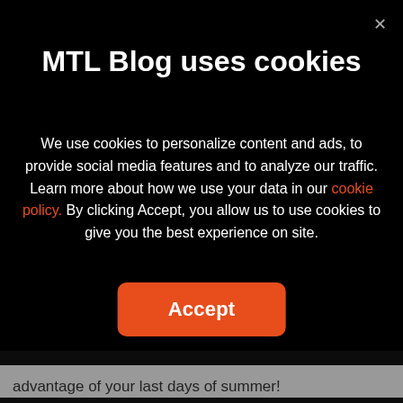MTL Blog uses cookies
We use cookies to personalize content and ads, to provide social media features and to analyze our traffic. Learn more about how we use your data in our cookie policy. By clicking Accept, you allow us to use cookies to give you the best experience on site.
Accept
advantage of your last days of summer!